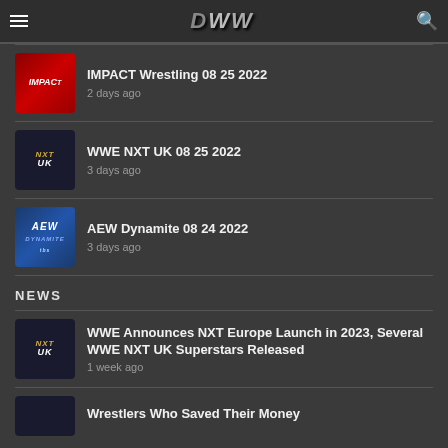OWW
IMPACT Wrestling 08 25 2022
2 days ago
WWE NXT UK 08 25 2022
3 days ago
AEW Dynamite 08 24 2022
3 days ago
NEWS
WWE Announces NXT Europe Launch in 2023, Several WWE NXT UK Superstars Released
1 week ago
Wrestlers Who Saved Their Money